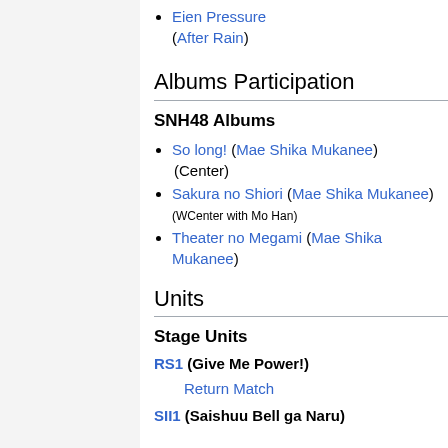Eien Pressure (After Rain)
Albums Participation
SNH48 Albums
So long! (Mae Shika Mukanee) (Center)
Sakura no Shiori (Mae Shika Mukanee) (WCenter with Mo Han)
Theater no Megami (Mae Shika Mukanee)
Units
Stage Units
RS1 (Give Me Power!)
Return Match
SII1 (Saishuu Bell ga Naru)